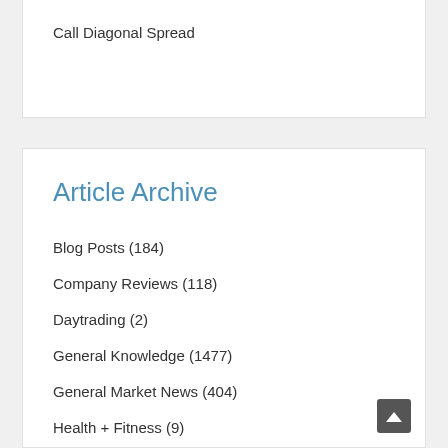Call Diagonal Spread
Article Archive
Blog Posts (184)
Company Reviews (118)
Daytrading (2)
General Knowledge (1477)
General Market News (404)
Health + Fitness (9)
Hedge Fund News (126)
Internet Companies (82)
Making Money Online (105)